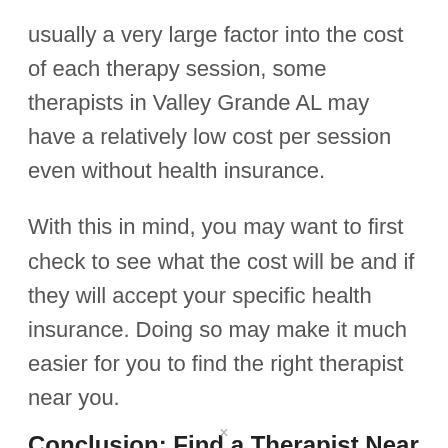usually a very large factor into the cost of each therapy session, some therapists in Valley Grande AL may have a relatively low cost per session even without health insurance.
With this in mind, you may want to first check to see what the cost will be and if they will accept your specific health insurance. Doing so may make it much easier for you to find the right therapist near you.
Conclusion: Find a Therapist Near...
×